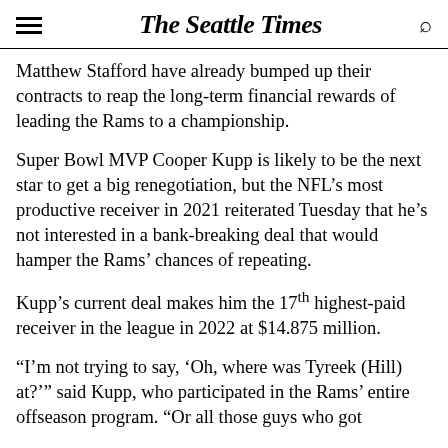The Seattle Times
Matthew Stafford have already bumped up their contracts to reap the long-term financial rewards of leading the Rams to a championship.
Super Bowl MVP Cooper Kupp is likely to be the next star to get a big renegotiation, but the NFL's most productive receiver in 2021 reiterated Tuesday that he's not interested in a bank-breaking deal that would hamper the Rams' chances of repeating.
Kupp's current deal makes him the 17th highest-paid receiver in the league in 2022 at $14.875 million.
“I’m not trying to say, ‘Oh, where was Tyreek (Hill) at?’” said Kupp, who participated in the Rams’ entire offseason program. “Or all those guys who got